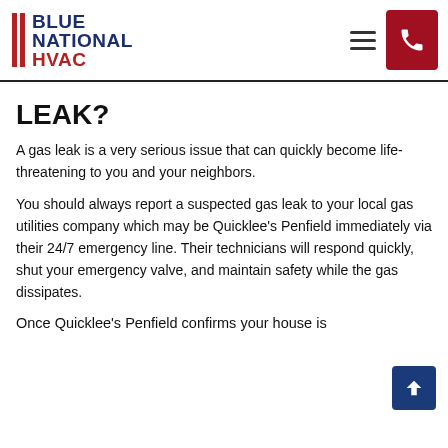BLUE NATIONAL HVAC
LEAK?
A gas leak is a very serious issue that can quickly become life-threatening to you and your neighbors.
You should always report a suspected gas leak to your local gas utilities company which may be Quicklee's Penfield immediately via their 24/7 emergency line. Their technicians will respond quickly, shut your emergency valve, and maintain safety while the gas dissipates.
Once Quicklee's Penfield confirms your house is